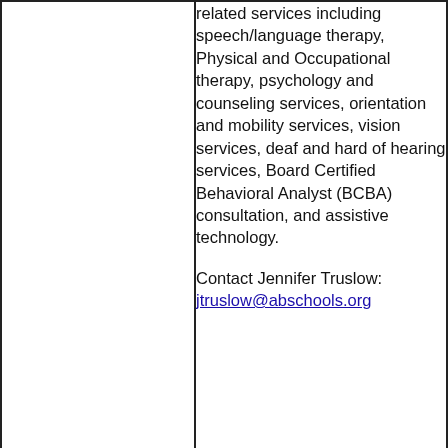related services including speech/language therapy, Physical and Occupational therapy, psychology and counseling services, orientation and mobility services, vision services, deaf and hard of hearing services, Board Certified Behavioral Analyst (BCBA) consultation, and assistive technology.
Contact Jennifer Truslow: jtruslow@abschools.org
[Figure (photo): Portrait photo of Jen Faber, a woman with long dark hair, smiling, wearing a light-colored top, in an indoor setting.]
Jen Faber
Director of Diversity, Equity & Inclusion

Jennifer joined Acton-Boxborough in July 2022. Jennifer is a longtime Massachusetts public school educator. She recently completed her 7th year as the Principal of the Woodland Elementary School in Weston where she has consistently